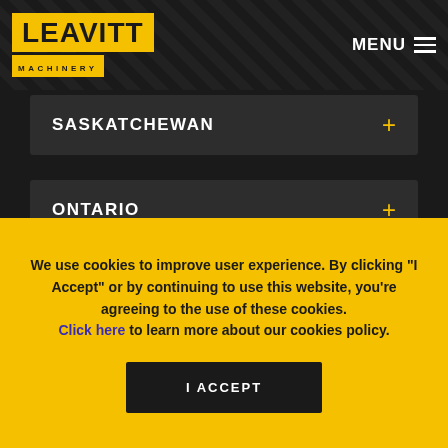LEAVITT MACHINERY — MENU
SASKATCHEWAN +
ONTARIO +
WASHINGTON +
OREGON +
We use cookies to improve user experience. By clicking "I Accept" or by continuing to use this website, you're agreeing to the use of these cookies. Click here to learn more about our cookies policy.
I ACCEPT